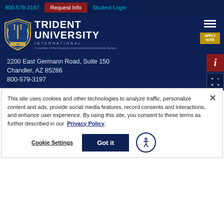800-579-3197 | Request Info | Student Login
[Figure (logo): Trident University International logo with shield, TUI text, trident symbol, and member of the American InterContinental University System text]
2200 East Germann Road, Suite 150
Chandler, AZ 85286
800-579-3197
This site uses cookies and other technologies to analyze traffic, personalize content and ads, provide social media features, record consents and interactions, and enhance user experience. By using this site, you consent to these terms as further described in our Privacy Policy.
Cookie Settings
Got it